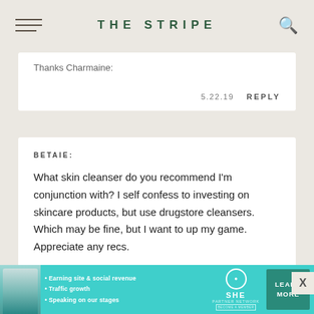THE STRIPE
Thanks Charmaine:
5.22.19   REPLY
BETAIE:
What skin cleanser do you recommend I'm conjunction with? I self confess to investing on skincare products, but use drugstore cleansers. Which may be fine, but I want to up my game. Appreciate any recs.
5.22.19   REPLY
[Figure (screenshot): SHE Partner Network advertisement banner with teal background, woman photo, bullet points about earning and traffic, SHE logo, and LEARN MORE button]